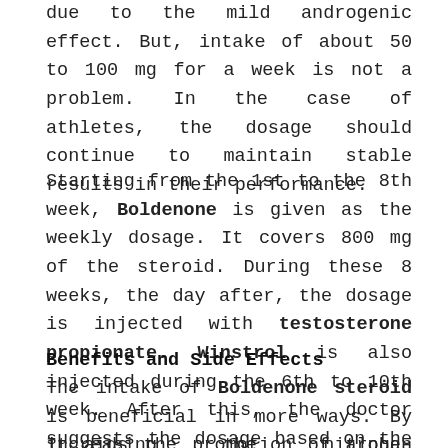due to the mild androgenic effect. But, intake of about 50 to 100 mg for a week is not a problem. In the case of athletes, the dosage should continue to maintain stable results in their performance.
Starting from the 1st to the 8th week, Boldenone is given as the weekly dosage. It covers 800 mg of the steroid. During these 8 weeks, the day after, the dosage is injected with testosterone propionate. Winstrol is also injected during the 6th to 10th week. After this, the doctor suggests the dosage based on the necessity and need. Once the steroid enters the body, it stays there for quite an extended period.
Benefits and Side Effects
The intake of Boldenone steroid is beneficial in more ways. By increasing the nitrogen retention, one feels the increased body mass through psychological mechanisms.
It aids the promotion of alpha-reductase enzymes in the